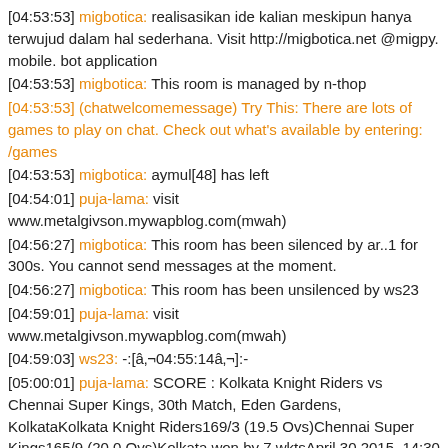[04:53:53] migbotica: realisasikan ide kalian meskipun hanya terwujud dalam hal sederhana. Visit http://migbotica.net @migpy. mobile. bot application
[04:53:53] migbotica: This room is managed by n-thop
[04:53:53] (chatwelcomemessage) Try This: There are lots of games to play on chat. Check out what's available by entering: /games
[04:53:53] migbotica: aymul[48] has left
[04:54:01] puja-lama: visit www.metalgivson.mywapblog.com(mwah)
[04:56:27] migbotica: This room has been silenced by ar..1 for 300s. You cannot send messages at the moment.
[04:56:27] migbotica: This room has been unsilenced by ws23
[04:59:01] puja-lama: visit www.metalgivson.mywapblog.com(mwah)
[04:59:03] ws23: -:[â„¢04:55:14â„¢]:-
[05:00:01] puja-lama: SCORE : Kolkata Knight Riders vs Chennai Super Kings, 30th Match, Eden Gardens, KolkataKolkata Knight Riders169/3 (19.5 Ovs)Chennai Super Kings165/9 (20.0 Ovs)Kolkata won by 7 wktsApril 30 2015, 14:30